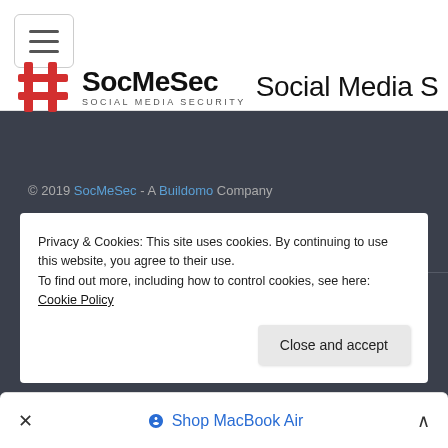SocMeSec – Social Media Security (header with hamburger menu and logo)
© 2019 SocMeSec - A Buildomo Company
Privacy & Cookies: This site uses cookies. By continuing to use this website, you agree to their use.
To find out more, including how to control cookies, see here:
Cookie Policy
Close and accept
✕   Shop MacBook Air   ∧